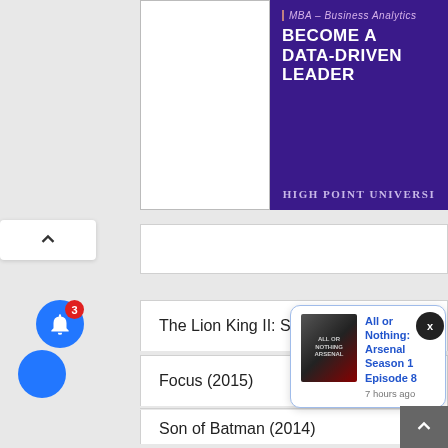[Figure (screenshot): Advertisement banner for High Point University MBA - Business Analytics program with purple background and text 'BECOME A DATA-DRIVEN LEADER']
The Lion King II: Simbas Pride (1998)
Focus (2015)
Son of Batman (2014)
Siren 2010 (2011)
Non-
13.13... (2015)
[Figure (screenshot): Notification popup for 'All or Nothing: Arsenal Season 1 Episode 8' with thumbnail, showing 7 hours ago]